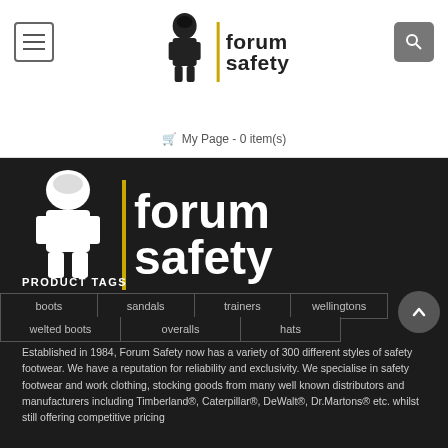[Figure (logo): Forum Safety logo in top header - knight figure with 'forum safety' text]
My Page - 0 item(s)
[Figure (logo): Large Forum Safety logo on dark background]
PRODUCT TAGS
boots
sandals
trainers
wellingtons
welted boots
overalls
hats
Established in 1984, Forum Safety now has a variety of 300 different styles of safety footwear. We have a reputation for reliability and exclusivity. We specialise in safety footwear and work clothing, stocking goods from many well known distributors and manufacturers including Timberland®, Caterpillar®, DeWalt®, Dr.Martons® etc. whilst still offering competitive pricing...